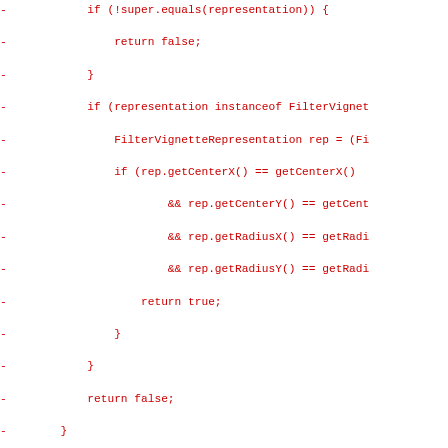Code diff showing removed lines (in red) from a Java class with FilterVignetteRepresentation logic, sParams array, and serializeRepresentation method